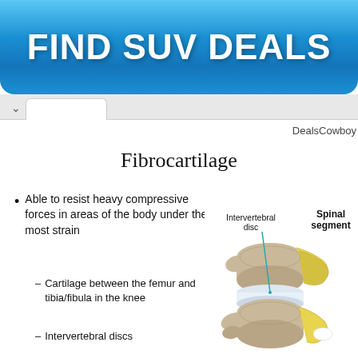[Figure (infographic): Blue gradient button/banner with text FIND SUV DEALS in white bold font]
[Figure (screenshot): Browser tab/chrome UI element with up arrow tab]
DealsCowboy
Fibrocartilage
Able to resist heavy compressive forces in areas of the body under the most strain
– Cartilage between the femur and tibia/fibula in the knee
– Intervertebral discs
[Figure (illustration): Anatomical illustration of spinal segment showing intervertebral disc and spinal segment with labeled parts. Vertebrae shown in tan/beige with yellow spinal cord/nerves visible.]